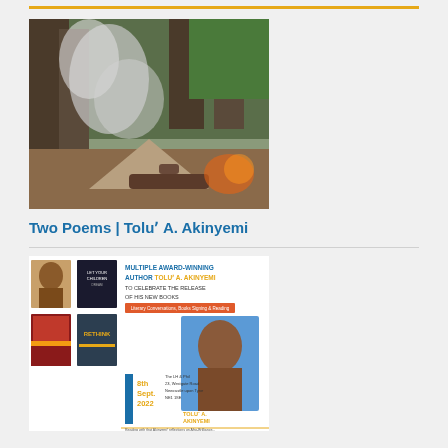[Figure (photo): Forest fire scene with smoke rising among trees, debris and burnt logs in foreground]
Two Poems | Toluʼ A. Akinyemi
[Figure (photo): Event flyer for Multiple Award-Winning Author Toluʼ A. Akinyemi book launch event at The LH & Phil, 23 Westgate Road, Newcastle upon Tyne, NE1 1SE, Thursday 8th Sept. 2022, Literary Conversations, Books Signing & Reading]